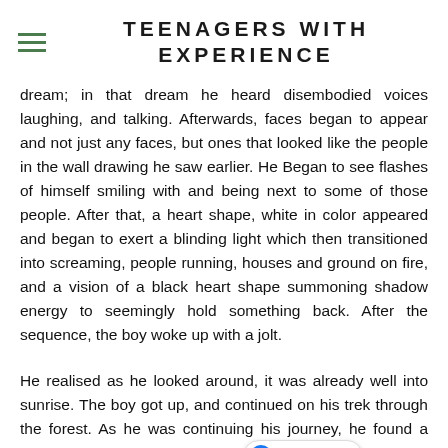TEENAGERS WITH EXPERIENCE
dream; in that dream he heard disembodied voices laughing, and talking. Afterwards, faces began to appear and not just any faces, but ones that looked like the people in the wall drawing he saw earlier. He Began to see flashes of himself smiling with and being next to some of those people. After that, a heart shape, white in color appeared and began to exert a blinding light which then transitioned into screaming, people running, houses and ground on fire, and a vision of a black heart shape summoning shadow energy to seemingly hold something back. After the sequence, the boy woke up with a jolt.
He realised as he looked around, it was already well into sunrise. The boy got up, and continued on his trek through the forest. As he was continuing his journey, he found a clearing ahead. Seeing a light at the edge of the woods, he made a mad dash for it grateful to finally be out. At the clearing, he saw himself standing at the edge